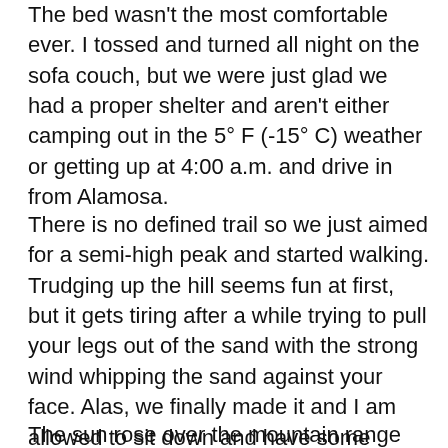The bed wasn't the most comfortable ever. I tossed and turned all night on the sofa couch, but we were just glad we had a proper shelter and aren't either camping out in the 5° F (-15° C) weather or getting up at 4:00 a.m. and drive in from Alamosa.
There is no defined trail so we just aimed for a semi-high peak and started walking. Trudging up the hill seems fun at first, but it gets tiring after a while trying to pull your legs out of the sand with the strong wind whipping the sand against your face. Alas, we finally made it and I am allowed to sit down and have some water.
The sun rose over the mountain range right around